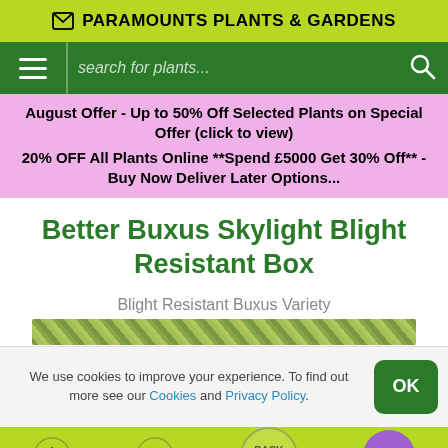✉ PARAMOUNTS PLANTS & GARDENS
[Figure (screenshot): Green navigation bar with hamburger menu icon, search field placeholder 'search for plants...' and magnifying glass icon]
August Offer - Up to 50% Off Selected Plants on Special Offer (click to view)
20% OFF All Plants Online **Spend £5000 Get 30% Off** - Buy Now Deliver Later Options...
Better Buxus Skylight Blight Resistant Box
Blight Resistant Buxus Variety
[Figure (photo): Partial product image showing green buxus hedge foliage]
We use cookies to improve your experience. To find out more see our Cookies and Privacy Policy.
Home | Cart | BACK TO TOP | (menu)